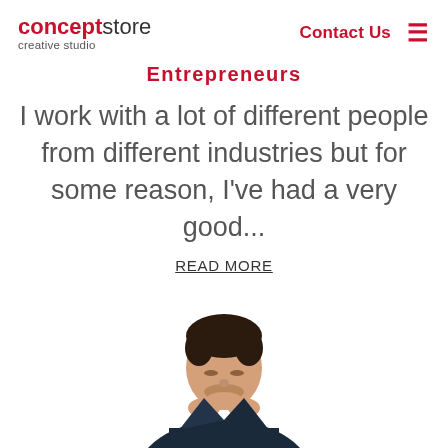concept store creative studio | Contact Us ☰
Entrepreneurs
I work with a lot of different people from different industries but for some reason, I've had a very good...
READ MORE
[Figure (photo): A man in a dark suit looking downward with his chin resting on his hands, photographed from above the shoulders on a white background.]